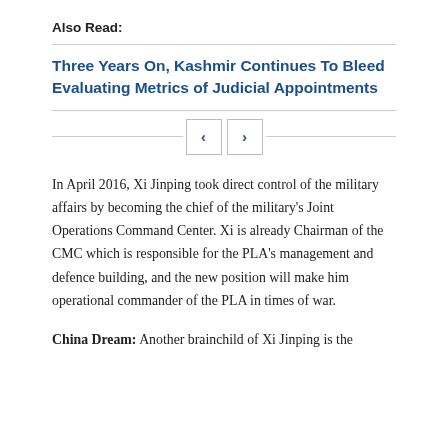Also Read:
Three Years On, Kashmir Continues To Bleed
Evaluating Metrics of Judicial Appointments
In April 2016, Xi Jinping took direct control of the military affairs by becoming the chief of the military's Joint Operations Command Center. Xi is already Chairman of the CMC which is responsible for the PLA's management and defence building, and the new position will make him operational commander of the PLA in times of war.
China Dream: Another brainchild of Xi Jinping is the